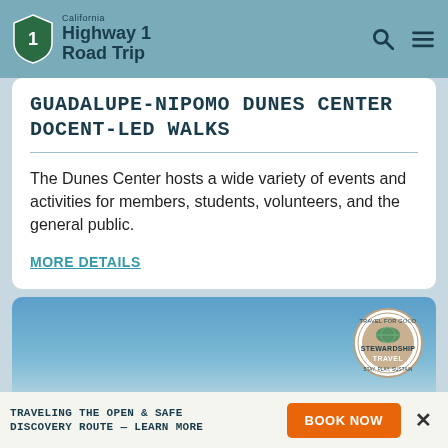California Highway 1 Road Trip
GUADALUPE-NIPOMO DUNES CENTER DOCENT-LED WALKS
The Dunes Center hosts a wide variety of events and activities for members, students, volunteers, and the general public.
MORE DETAILS
[Figure (photo): Sky with fluffy white clouds on a blue background, with a Stewardship Travel badge in the upper right corner]
TRAVELING THE OPEN & SAFE DISCOVERY ROUTE — LEARN MORE | BOOK NOW